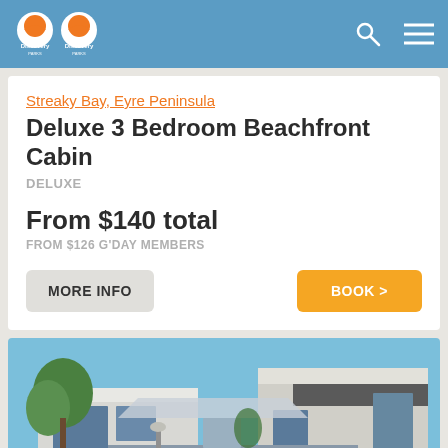Discovery Parks Discovery Parks
Streaky Bay, Eyre Peninsula
Deluxe 3 Bedroom Beachfront Cabin
DELUXE
From $140 total
FROM $126 G'DAY MEMBERS
MORE INFO
BOOK >
[Figure (photo): Exterior photo of a modern beachfront cabin with a deck, blue railings, and trees in the background against a blue sky.]